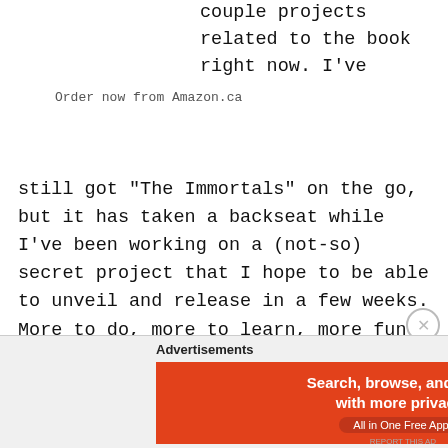couple projects related to the book right now. I’ve still got “The Immortals” on the go, but it has taken a backseat while I’ve been working on a (not-so) secret project that I hope to be able to unveil and release in a few weeks. More to do, more to learn, more fun.
Order now from Amazon.ca
Thank you for reading my launch learnings, may your world always grow!
[Figure (infographic): DuckDuckGo advertisement banner: orange left panel with text 'Search, browse, and email with more privacy. All in One Free App', dark right panel with DuckDuckGo logo and name]
Advertisements
REPORT THIS AD